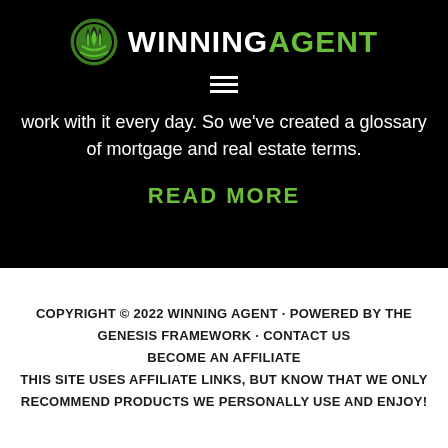WINNING AGENT
work with it every day. So we've created a glossary of mortgage and real estate terms.
READ MORE
COPYRIGHT © 2022 WINNING AGENT · POWERED BY THE GENESIS FRAMEWORK · CONTACT US BECOME AN AFFILIATE THIS SITE USES AFFILIATE LINKS, BUT KNOW THAT WE ONLY RECOMMEND PRODUCTS WE PERSONALLY USE AND ENJOY!